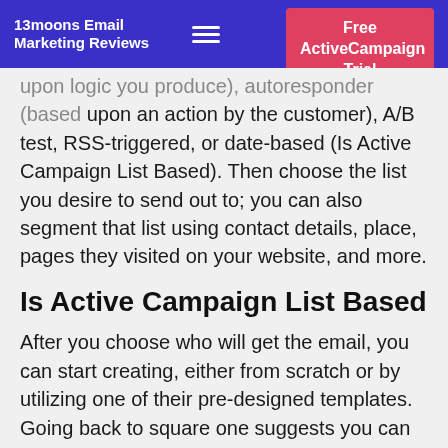13moons Email Marketing Reviews | Free ActiveCampaign Trial
upon logic you produce), autoresponder (based upon an action by the customer), A/B test, RSS-triggered, or date-based (Is Active Campaign List Based). Then choose the list you desire to send out to; you can also segment that list using contact details, place, pages they visited on your website, and more.
Is Active Campaign List Based
After you choose who will get the email, you can start creating, either from scratch or by utilizing one of their pre-designed templates. Going back to square one suggests you can choose the layout, colors, and theme. You can also add aspects through drag and drop to the page